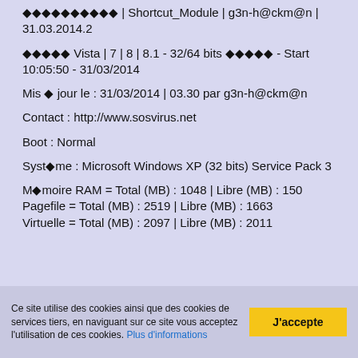◆◆◆◆◆◆◆◆◆◆ | Shortcut_Module | g3n-h@ckm@n | 31.03.2014.2
◆◆◆◆◆ Vista | 7 | 8 | 8.1 - 32/64 bits ◆◆◆◆◆ - Start 10:05:50 - 31/03/2014
Mis ◆ jour le : 31/03/2014 | 03.30 par g3n-h@ckm@n
Contact : http://www.sosvirus.net
Boot : Normal
Syst◆me : Microsoft Windows XP (32 bits) Service Pack 3
M◆moire RAM = Total (MB) : 1048 | Libre (MB) : 150
Pagefile = Total (MB) : 2519 | Libre (MB) : 1663
Virtuelle = Total (MB) : 2097 | Libre (MB) : 2011
Ce site utilise des cookies ainsi que des cookies de services tiers, en naviguant sur ce site vous acceptez l'utilisation de ces cookies. Plus d'informations